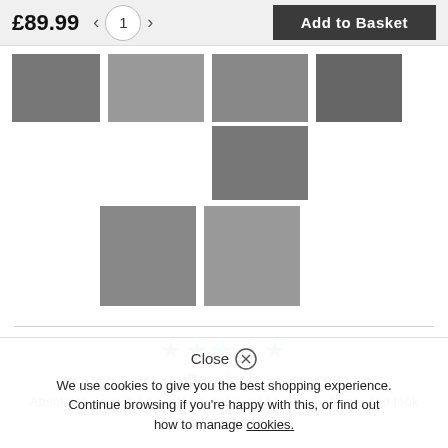£89.99
1
Add to Basket
[Figure (photo): Bar stool product image - bottom view of stool bases on tile floor]
[Figure (photo): Bar stools at a kitchen island]
[Figure (photo): Single bar stool, side view]
[Figure (photo): Bar stools on dark mat]
[Figure (photo): Two bar stools under wooden counter]
[Figure (photo): Multiple bar stools in a row]
★★★★★
Bar stools
Absolutely love the bar stools, really good quality, comfy and look fab. Really pleased w...
Close ⊗
We use cookies to give you the best shopping experience. Continue browsing if you're happy with this, or find out how to manage cookies.